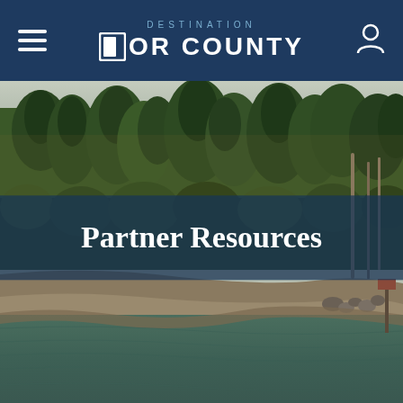DESTINATION DOOR COUNTY
[Figure (photo): Aerial/shoreline photo of Door County landscape showing forested coastline with trees, sandy beach, rocky shore, and calm water in warm evening light]
Partner Resources